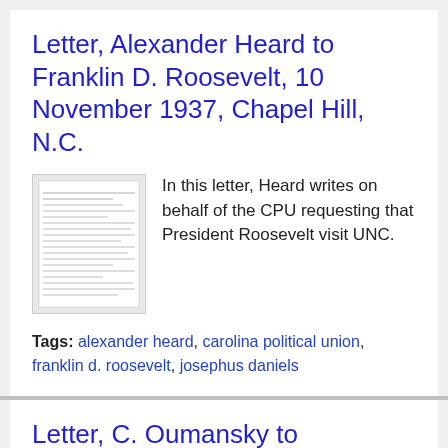Letter, Alexander Heard to Franklin D. Roosevelt, 10 November 1937, Chapel Hill, N.C.
[Figure (photo): Thumbnail image of a typed letter document]
In this letter, Heard writes on behalf of the CPU requesting that President Roosevelt visit UNC.
Tags: alexander heard, carolina political union, franklin d. roosevelt, josephus daniels
Letter, C. Oumansky to Alexander Heard, 2 August 1937, Washington D.C.
[Figure (photo): Thumbnail image of a typed letter document]